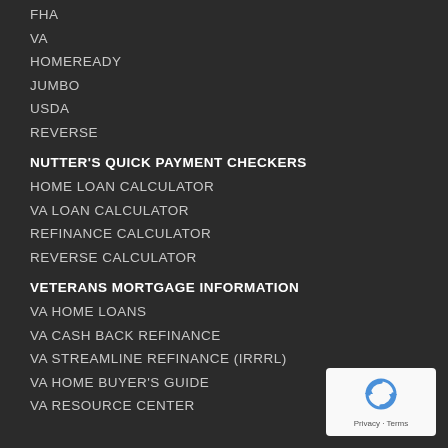FHA
VA
HOMEREADY
JUMBO
USDA
REVERSE
NUTTER'S QUICK PAYMENT CHECKERS
HOME LOAN CALCULATOR
VA LOAN CALCULATOR
REFINANCE CALCULATOR
REVERSE CALCULATOR
VETERANS MORTGAGE INFORMATION
VA HOME LOANS
VA CASH BACK REFINANCE
VA STREAMLINE REFINANCE (IRRRL)
VA HOME BUYER'S GUIDE
VA RESOURCE CENTER
[Figure (logo): reCAPTCHA badge with Privacy and Terms text]